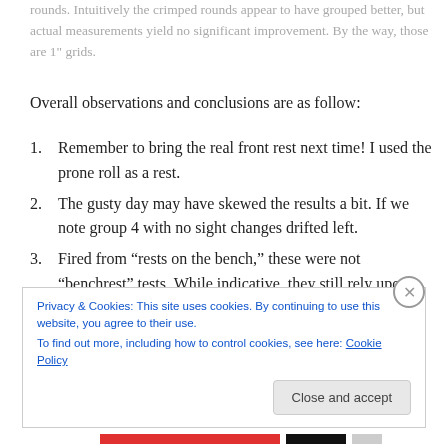rounds. Intuitively the crimped rounds appear to have grouped better, but actual measurements yield no significant improvement. By the way, those are 1" grids.
Overall observations and conclusions are as follow:
Remember to bring the real front rest next time!  I used the prone roll as a rest.
The gusty day may have skewed the results a bit. If we note group 4 with no sight changes drifted left.
Fired from “rests on the bench,” these were not “benchrest” tests. While indicative, they still rely upon
Privacy & Cookies: This site uses cookies. By continuing to use this website, you agree to their use.
To find out more, including how to control cookies, see here: Cookie Policy
Close and accept